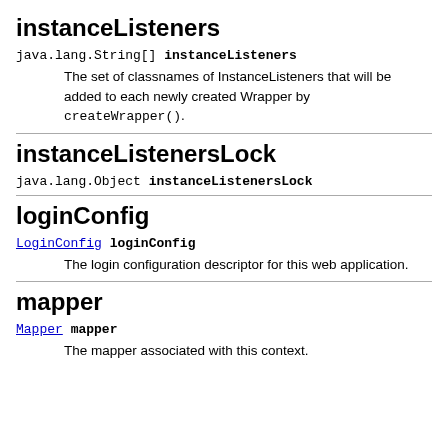instanceListeners
java.lang.String[] instanceListeners
The set of classnames of InstanceListeners that will be added to each newly created Wrapper by createWrapper().
instanceListenersLock
java.lang.Object instanceListenersLock
loginConfig
LoginConfig loginConfig
The login configuration descriptor for this web application.
mapper
Mapper mapper
The mapper associated with this context.